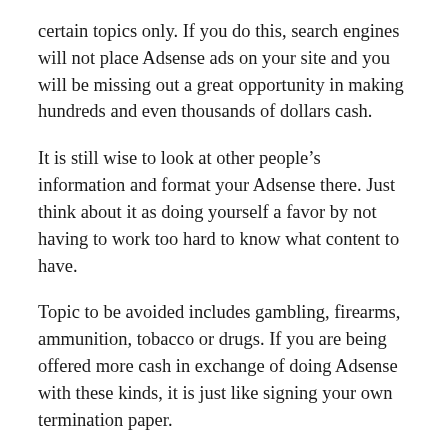certain topics only. If you do this, search engines will not place Adsense ads on your site and you will be missing out a great opportunity in making hundreds and even thousands of dollars cash.
It is still wise to look at other people’s information and format your Adsense there. Just think about it as doing yourself a favor by not having to work too hard to know what content to have.
Topic to be avoided includes gambling, firearms, ammunition, tobacco or drugs. If you are being offered more cash in exchange of doing Adsense with these kinds, it is just like signing your own termination paper.
With all the information that people need in your hands already, all you have to do is turn them as your profits. It all boils down to a gain and gain